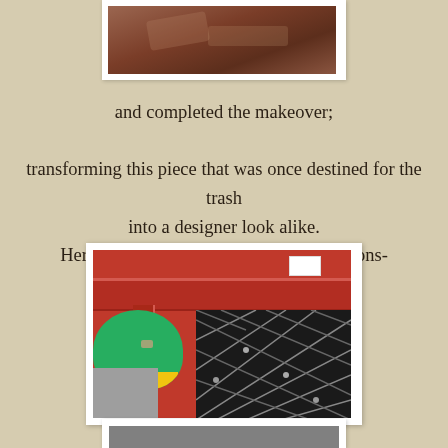[Figure (photo): Top photo showing a close-up of worn wooden furniture surface with scratches, partially cropped at the top of the page.]
and completed the makeover;

transforming this piece that was once destined for the trash into a designer look alike.
Here are some Before & After comparisons-
[Figure (photo): Before photo showing a red/maroon painted table leg and corner with damage/chips, alongside a black diamond-patterned fabric or tile surface.]
[Figure (photo): Bottom photo partially visible, showing a grey surface, cropped at the bottom of the page.]